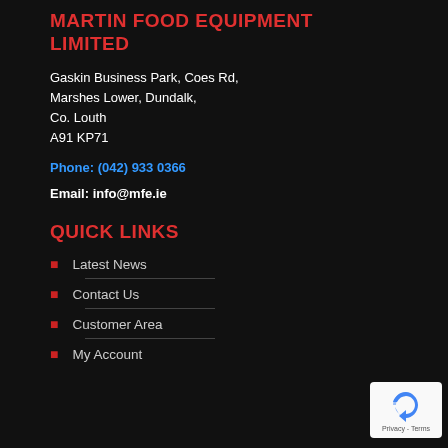MARTIN FOOD EQUIPMENT LIMITED
Gaskin Business Park, Coes Rd,
Marshes Lower, Dundalk,
Co. Louth
A91 KP71
Phone: (042) 933 0366
Email: info@mfe.ie
QUICK LINKS
Latest News
Contact Us
Customer Area
My Account
[Figure (logo): reCAPTCHA badge with recycling-style arrow logo and Privacy - Terms text]